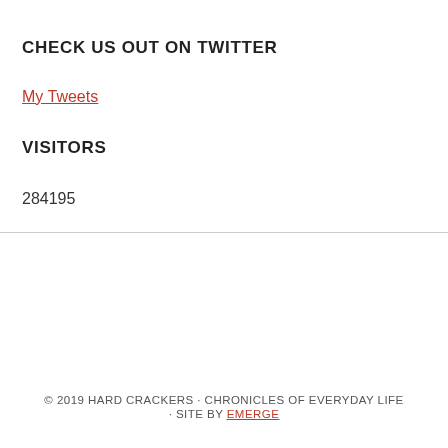CHECK US OUT ON TWITTER
My Tweets
VISITORS
284195
© 2019 HARD CRACKERS · CHRONICLES OF EVERYDAY LIFE · SITE BY EMERGE